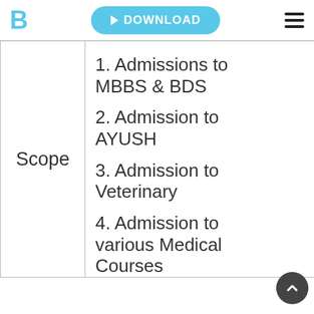DOWNLOAD
| Scope | Content |
| --- | --- |
| Scope | 1. Admissions to MBBS & BDS
2. Admission to AYUSH
3. Admission to Veterinary
4. Admission to various Medical Courses |